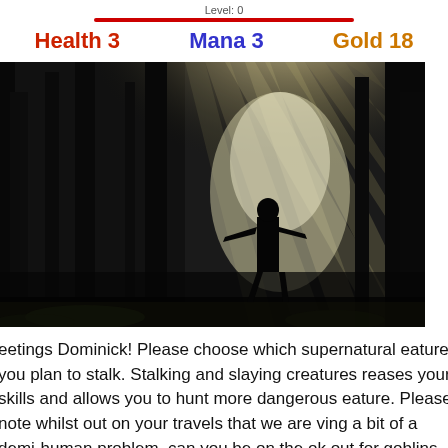Level: 0
Health 3   Mana 3   Gold 18
[Figure (photo): A dark forest scene with dramatic light rays shining through trees, with a silhouette of a humanoid figure running or moving through the light beams.]
eetings Dominick! Please choose which supernatural eature you plan to stalk. Stalking and slaying creatures reases your skills and allows you to hunt more dangerous eature. Please note whilst out on your travels that we are ving a bit of a demi-human problem, can you be on the ok out for goblins, tree monsters and trolls and if you see y please slay 5 for us.